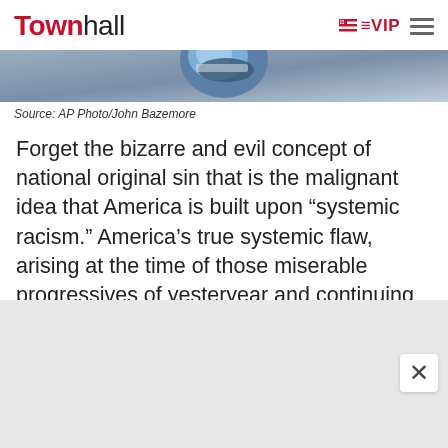Townhall | VIP
[Figure (photo): Partial view of a racing driver wearing a colorful helmet with Sparco branding, cropped at top of page]
Source: AP Photo/John Bazemore
Forget the bizarre and evil concept of national original sin that is the malignant idea that America is built upon “systemic racism.” America’s true systemic flaw, arising at the time of those miserable progressives of yesteryear and continuing up through the miserable progressives of this rotten year, is what we now call “liberalism.”